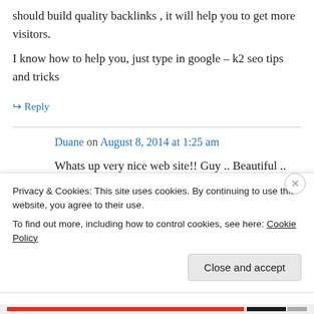should build quality backlinks , it will help you to get more visitors.
I know how to help you, just type in google – k2 seo tips and tricks
↳ Reply
Duane on August 8, 2014 at 1:25 am
Whats up very nice web site!! Guy .. Beautiful .. Wonderful .. I will bookmark your website and take the feeds also?
Privacy & Cookies: This site uses cookies. By continuing to use this website, you agree to their use.
To find out more, including how to control cookies, see here: Cookie Policy
Close and accept